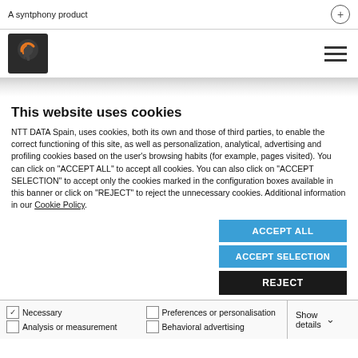A syntphony product
[Figure (logo): NTT DATA / syntphony logo - dark background with orange horse head icon]
This website uses cookies
NTT DATA Spain, uses cookies, both its own and those of third parties, to enable the correct functioning of this site, as well as personalization, analytical, advertising and profiling cookies based on the user's browsing habits (for example, pages visited). You can click on "ACCEPT ALL" to accept all cookies. You can also click on "ACCEPT SELECTION" to accept only the cookies marked in the configuration boxes available in this banner or click on "REJECT" to reject the unnecessary cookies. Additional information in our Cookie Policy.
ACCEPT ALL
ACCEPT SELECTION
REJECT
Necessary | Preferences or personalisation | Analysis or measurement | Behavioral advertising | Show details